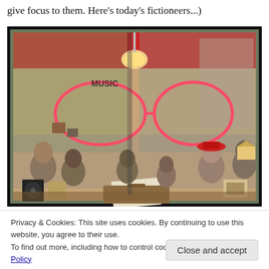give focus to them. Here's today's fictioneers...)
[Figure (photo): Shop window display with neon glasses sign, mannequin heads with masks, books labeled 'MOSCOT', vintage records, decorative items, and reflections of street scene outside. Neon pink/red glasses-shaped sign in center of window.]
Privacy & Cookies: This site uses cookies. By continuing to use this website, you agree to their use.
To find out more, including how to control cookies, see here: Cookie Policy
Close and accept